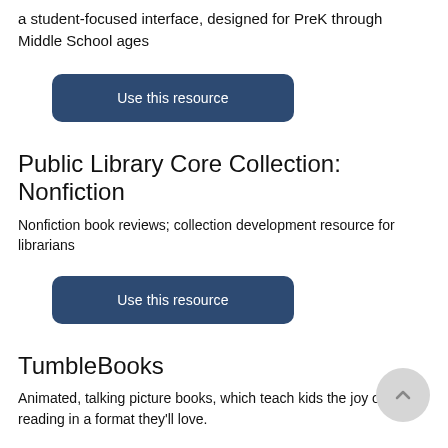a student-focused interface, designed for PreK through Middle School ages
Use this resource
Public Library Core Collection: Nonfiction
Nonfiction book reviews; collection development resource for librarians
Use this resource
TumbleBooks
Animated, talking picture books, which teach kids the joy of reading in a format they'll love.
Use this resource